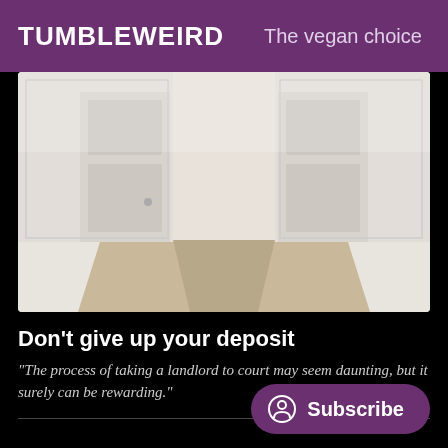TUMBLEWEIRD   The vegan choice
[Figure (photo): An empty white room with two white paneled doors open, revealing a pale wood floor hallway. Minimal, bright interior space.]
Don't give up your deposit
“The process of taking a landlord to court may seem daunting, but it surely can be rewarding.”